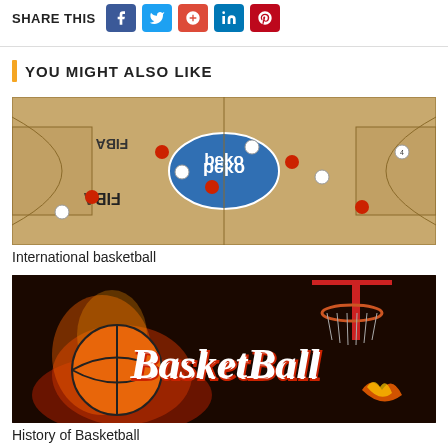SHARE THIS
YOU MIGHT ALSO LIKE
[Figure (photo): Aerial view of an international basketball game on a hardwood court with FIBA and Beko logos; players in red and white uniforms]
International basketball
[Figure (illustration): Basketball on fire with stylized 'BasketBall' text logo and basketball hoop in background]
History of Basketball